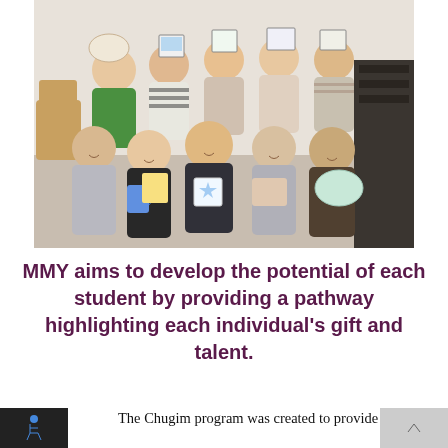[Figure (photo): Group photo of approximately 10-12 young women smiling and holding up handmade crafts, art, and painted ceramics in an indoor room setting.]
MMY aims to develop the potential of each student by providing a pathway highlighting each individual's gift and talent.
The Chugim program was created to provide